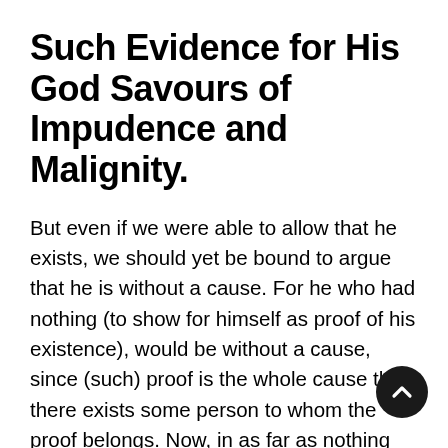Such Evidence for His God Savours of Impudence and Malignity.
But even if we were able to allow that he exists, we should yet be bound to argue that he is without a cause. For he who had nothing (to show for himself as proof of his existence), would be without a cause, since (such) proof is the whole cause that there exists some person to whom the proof belongs. Now, in as far as nothing ought to be without a cause, that is, without a proof (because if it be without a cause, it is all one as if it be not, not having the very proof which is the cause of a thing), in so far shall I more worthily believe that God does not exist, than that He